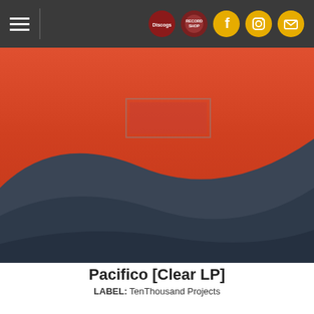Navigation bar with hamburger menu and social icons (Discogs, Facebook, Instagram, Mail)
[Figure (photo): Album cover art showing abstract sand dunes with orange/red sky gradient and dark blue-grey curved shapes]
Pacifico [Clear LP]
LABEL: TenThousand Projects
2022-06-24
Vinyl: $29.98  BUY
[Figure (photo): Second album art showing a night sky gradient with a crescent moon icon, transitioning from grey-blue to pink]